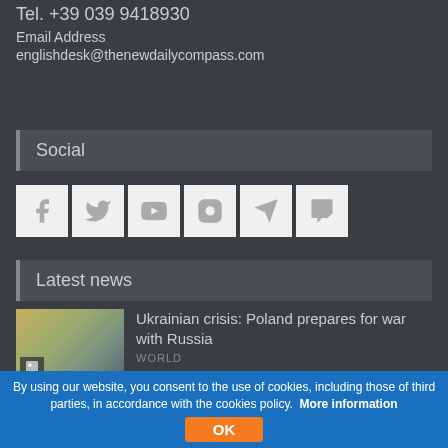Tel. +39 039 9418930
Email Address
englishdesk@thenewdailycompass.com
Social
[Figure (infographic): Row of 6 social media icons: Facebook, Twitter, YouTube, Instagram, Telegram, Twitch]
Latest news
Ukrainian crisis: Poland prepares for war with Russia
WORLD
"Baby A": first declared dead,
By using our website, you consent to the use of cookies, including those of third parties, in accordance with the cookies policy. More information OK